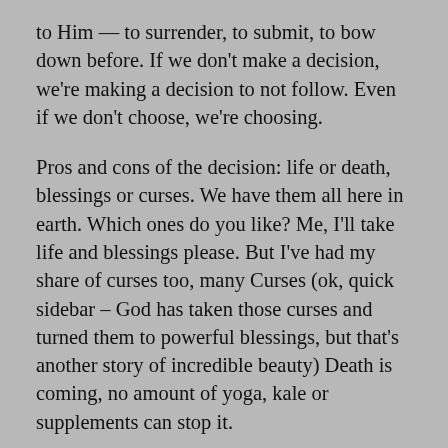to Him — to surrender, to submit, to bow down before. If we don't make a decision, we're making a decision to not follow. Even if we don't choose, we're choosing.
Pros and cons of the decision: life or death, blessings or curses. We have them all here in earth. Which ones do you like? Me, I'll take life and blessings please. But I've had my share of curses too, many Curses (ok, quick sidebar – God has taken those curses and turned them to powerful blessings, but that's another story of incredible beauty) Death is coming, no amount of yoga, kale or supplements can stop it.
So what are life and blessings? Knowing why God put us here – a reason to live, purpose for living — is